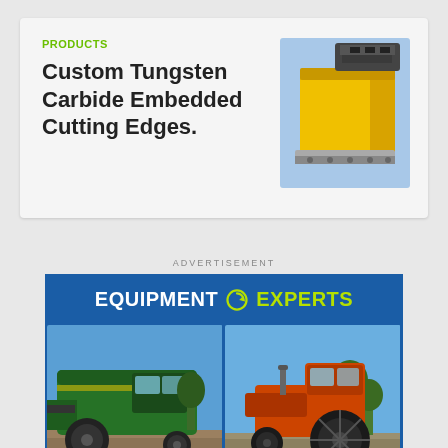PRODUCTS
Custom Tungsten Carbide Embedded Cutting Edges.
[Figure (photo): Close-up photo of a yellow heavy equipment cutting edge bucket attachment]
ADVERTISEMENT
[Figure (infographic): Equipment Experts advertisement banner showing logo with green circular icon, a green John Deere combine harvester on the left and an orange/red tractor on the right, on blue background with green wave at bottom]